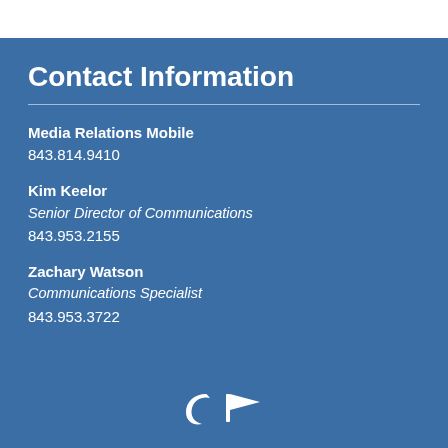Contact Information
Media Relations Mobile
843.814.9410
Kim Keelor
Senior Director of Communications
843.953.2155
Zachary Watson
Communications Specialist
843.953.3722
[Figure (illustration): South Carolina crescent moon and palmetto flag icons in white at the bottom center of the page]